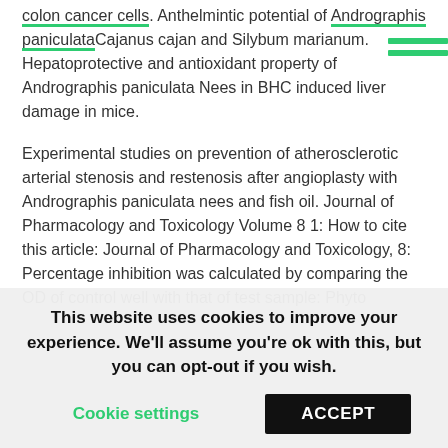colon cancer cells. Anthelmintic potential of Andrographis paniculataCajanus cajan and Silybum marianum. Hepatoprotective and antioxidant property of Andrographis paniculata Nees in BHC induced liver damage in mice.
Experimental studies on prevention of atherosclerotic arterial stenosis and restenosis after angioplasty with Andrographis paniculata nees and fish oil. Journal of Pharmacology and Toxicology Volume 8 1: How to cite this article: Journal of Pharmacology and Toxicology, 8: Percentage inhibition was calculated by comparing the OD of control well with that of test sample: Phyto chemical analysis of hydroalcoholic extract of A
This website uses cookies to improve your experience. We'll assume you're ok with this, but you can opt-out if you wish.
Cookie settings   ACCEPT